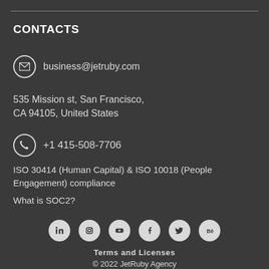CONTACTS
business@jetruby.com
535 Mission st, San Francisco,
CA 94105, United States
+1 415-508-7706
ISO 30414 (Human Capital) & ISO 10018 (People Engagement) compliance
What is SOC2?
[Figure (infographic): Row of social media icons: LinkedIn, Instagram, YouTube, Facebook, Twitter, Behance]
Terms and Licenses
© 2022 JetRuby Agency